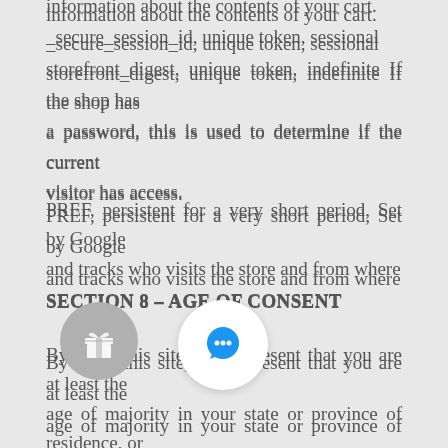information about the contents of your cart. _secure_session_id, unique token, sessional storefront_digest, unique token, indefinite If the shop has a password, this is used to determine if the current visitor has access.
PREF, persistent for a very short period, Set by Google and tracks who visits the store and from where
SECTION 8 – AGE OF CONSENT
By using this site, you represent that you are at least the age of majority in your state or province of residence, or that you are the age of majority in your state or province of residence and you have given us your consent to allow any of your minor dependents to use this site.
SECTION 9 – CHANGES TO PRIVACY POLICY
We reserve the right to modify this privacy policy at any